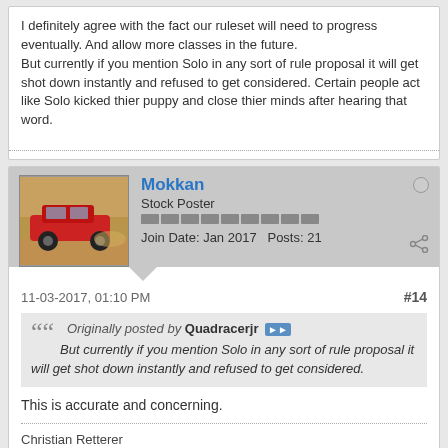I definitely agree with the fact our ruleset will need to progress eventually. And allow more classes in the future.
But currently if you mention Solo in any sort of rule proposal it will get shot down instantly and refused to get considered. Certain people act like Solo kicked thier puppy and close thier minds after hearing that word.
Mokkan
Stock Poster
Join Date: Jan 2017  Posts: 21
11-03-2017, 01:10 PM
#14
Originally posted by Quadracerjr
But currently if you mention Solo in any sort of rule proposal it will get shot down instantly and refused to get considered.
This is accurate and concerning.
Christian Retterer
PA - 1990 Eclipse GSX